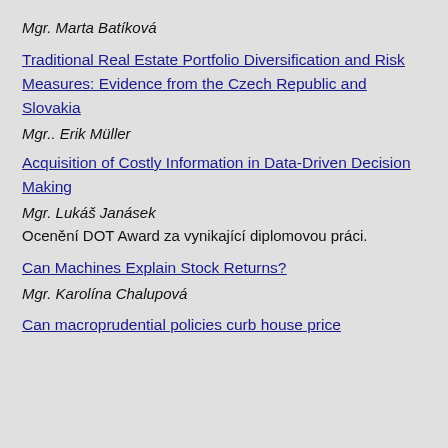Mgr. Marta Batíková
Traditional Real Estate Portfolio Diversification and Risk Measures: Evidence from the Czech Republic and Slovakia
Mgr.. Erik Müller
Acquisition of Costly Information in Data-Driven Decision Making
Mgr. Lukáš Janásek
Ocenění DOT Award za vynikající diplomovou práci.
Can Machines Explain Stock Returns?
Mgr. Karolína Chalupová
Can macroprudential policies curb house price